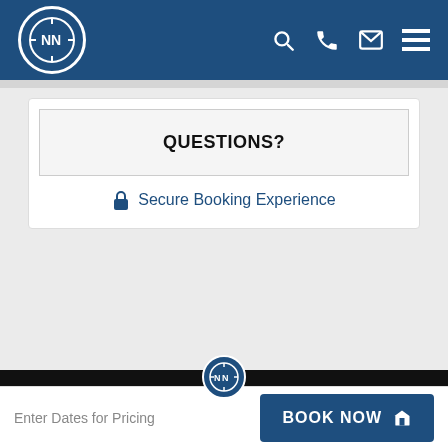[Figure (logo): NN compass logo in white circle on blue header bar with search, phone, email, and menu icons]
QUESTIONS?
Secure Booking Experience
[Figure (logo): Small NN compass logo circle at bottom of dark section]
Enter Dates for Pricing
BOOK NOW